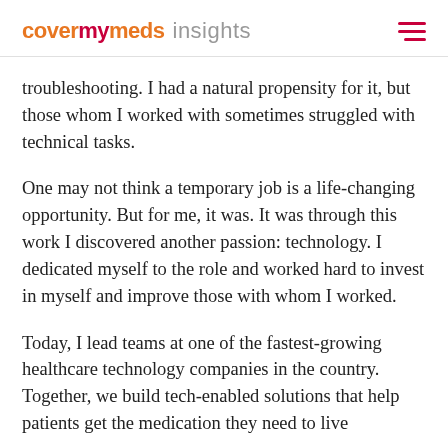covermymeds insights
troubleshooting. I had a natural propensity for it, but those whom I worked with sometimes struggled with technical tasks.
One may not think a temporary job is a life-changing opportunity. But for me, it was. It was through this work I discovered another passion: technology. I dedicated myself to the role and worked hard to invest in myself and improve those with whom I worked.
Today, I lead teams at one of the fastest-growing healthcare technology companies in the country. Together, we build tech-enabled solutions that help patients get the medication they need to live